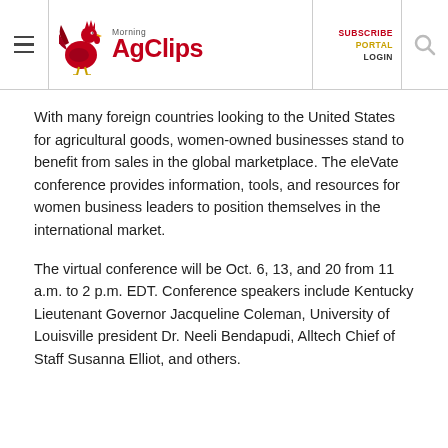Morning AgClips — SUBSCRIBE PORTAL LOGIN
With many foreign countries looking to the United States for agricultural goods, women-owned businesses stand to benefit from sales in the global marketplace. The eleVate conference provides information, tools, and resources for women business leaders to position themselves in the international market.
The virtual conference will be Oct. 6, 13, and 20 from 11 a.m. to 2 p.m. EDT. Conference speakers include Kentucky Lieutenant Governor Jacqueline Coleman, University of Louisville president Dr. Neeli Bendapudi, Alltech Chief of Staff Susanna Elliot, and others.